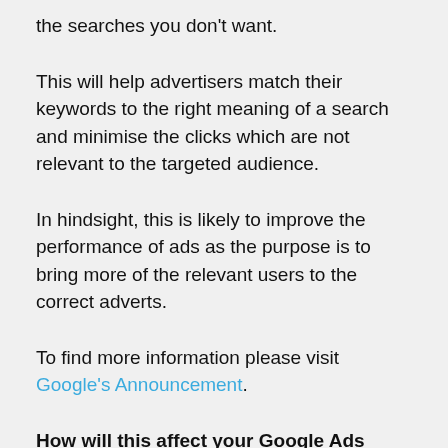the searches you don't want.
This will help advertisers match their keywords to the right meaning of a search and minimise the clicks which are not relevant to the targeted audience.
In hindsight, this is likely to improve the performance of ads as the purpose is to bring more of the relevant users to the correct adverts.
To find more information please visit Google's Announcement.
How will this affect your Google Ads campaign at Chits?